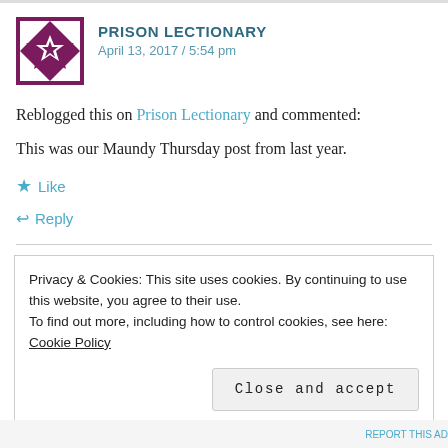[Figure (logo): Prison Lectionary geometric quilt-style logo in purple and white]
PRISON LECTIONARY
April 13, 2017 / 5:54 pm
Reblogged this on Prison Lectionary and commented:
This was our Maundy Thursday post from last year.
★ Like
↩ Reply
Privacy & Cookies: This site uses cookies. By continuing to use this website, you agree to their use.
To find out more, including how to control cookies, see here: Cookie Policy
Close and accept